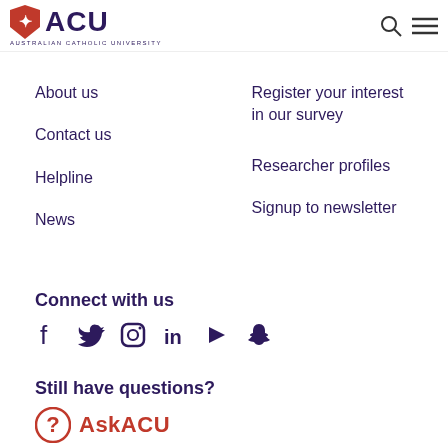[Figure (logo): ACU - Australian Catholic University logo with red shield and dark purple text]
About us
Contact us
Helpline
News
Register your interest in our survey
Researcher profiles
Signup to newsletter
Connect with us
[Figure (infographic): Social media icons: Facebook, Twitter, Instagram, LinkedIn, YouTube, Snapchat]
Still have questions?
[Figure (logo): AskACU logo with red circle question mark icon and red AskACU text]